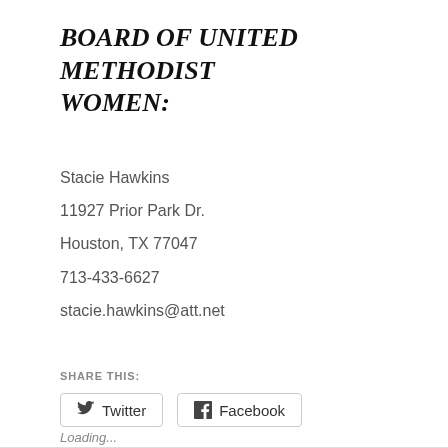BOARD OF UNITED METHODIST WOMEN:
Stacie Hawkins
11927 Prior Park Dr.
Houston, TX 77047
713-433-6627
stacie.hawkins@att.net
SHARE THIS:
Twitter  Facebook
Loading...